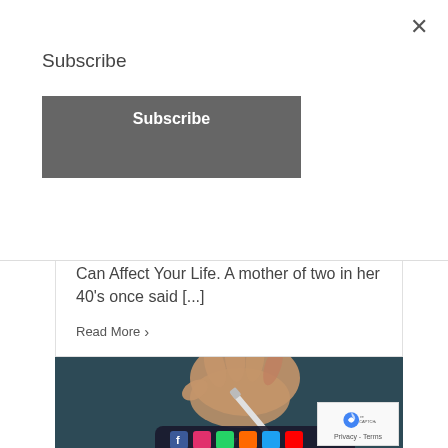Subscribe
Subscribe
Importance of Breast Screening and How it Can Affect Your Life. A mother of two in her 40's once said [...]
Read More >
[Figure (photo): A hand holding a stylus pen writing on a smartphone screen with app icons visible, dark teal background]
[Figure (logo): reCAPTCHA badge with recaptcha logo and Privacy - Terms text]